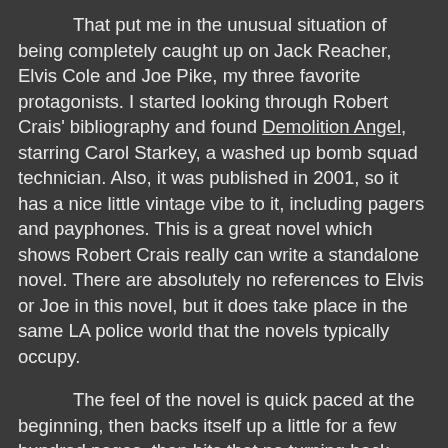That put me in the unusual situation of being completely caught up on Jack Reacher, Elvis Cole and Joe Pike, my three favorite protagonists.  I started looking through Robert Crais' bibliography and found Demolition Angel, starring Carol Starkey, a washed up bomb squad technician.  Also, it was published in 2001, so it has a nice little vintage vibe to it, including pagers and payphones.  This is a great novel which shows Robert Crais really can write a standalone novel.  There are absolutely no references to Elvis or Joe in this novel, but it does take place in the same LA police world that the novels typically occupy.
The feel of the novel is quick paced at the beginning, then backs itself up a little for a few hundred pages, then hits that no turning back point at about one hundred and fifty pages to go.  How do the authors do that?  Do they know that's all they have left?  Great editing?  I have no idea, but this book really turns it on at the end.  I think i read 180 pages in about two hours to finish the book.
This is a great read, especially if you enjoy the world that Elvis and Joe normally occupy.  Up next is The Moscow Club, Joseph Finder's first book that was recently re-released.